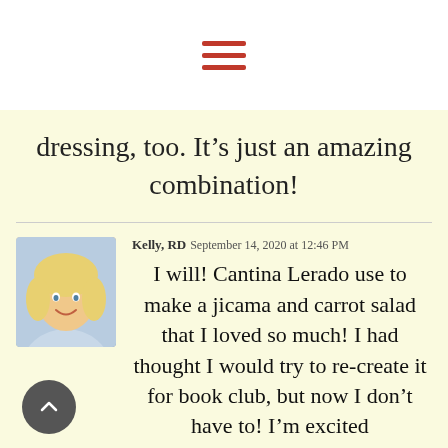[Figure (illustration): Hamburger menu icon with three red horizontal bars on white background]
dressing, too. It’s just an amazing combination!
Kelly, RD  September 14, 2020 at 12:46 PM
I will! Cantina Lerado use to make a jicama and carrot salad that I loved so much! I had thought I would try to re-create it for book club, but now I don’t have to! I’m excited